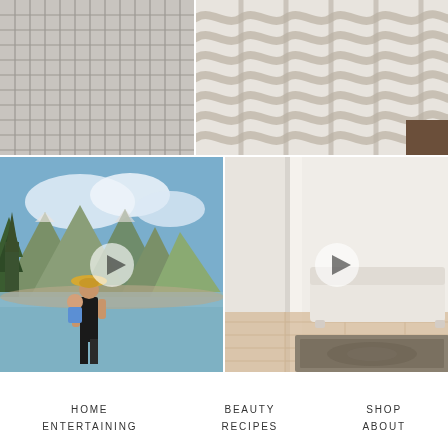[Figure (photo): Close-up of grid-pattern curtain or fabric on the left, chunky knit textile in the middle and right, warm neutral tones]
[Figure (photo): Woman in swimsuit and yellow sun hat holding a baby at a mountain lake shoreline with clear water, trees, and mountains in background. White play button overlay indicates video.]
[Figure (photo): Interior room corner showing a white upholstered bench/daybed, light wood floor, and a vintage-style gray rug. White play button overlay indicates video.]
HOME
ENTERTAINING
BEAUTY
RECIPES
SHOP
ABOUT